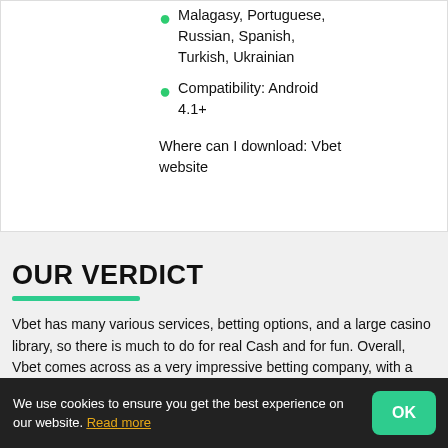Malagasy, Portuguese, Russian, Spanish, Turkish, Ukrainian
Compatibility: Android 4.1+
Where can I download: Vbet website
OUR VERDICT
Vbet has many various services, betting options, and a large casino library, so there is much to do for real Cash and for fun. Overall, Vbet comes across as a very impressive betting company, with a strong team of professionals and prestigious endorsement deals with major sports organizations. However, we have done the research and found a range of notable complaints related to the payment processing methods, especially withdrawals, and payment refusal of loyal customers. With that in mind, there is a matter of trust potential players should consider.
We use cookies to ensure you get the best experience on our website. Read more